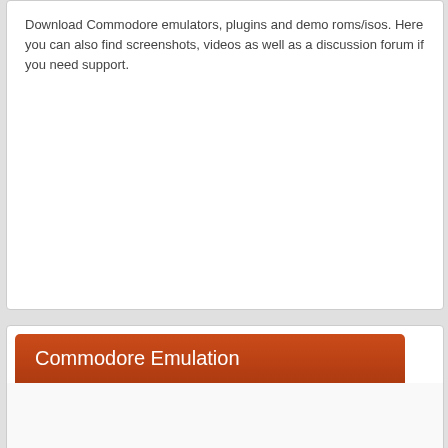Download Commodore emulators, plugins and demo roms/isos. Here you can also find screenshots, videos as well as a discussion forum if you need support.
Commodore Emulation
Categories
1. Commodore 64 Emulators
2. Commodore 16/+4 Emulators